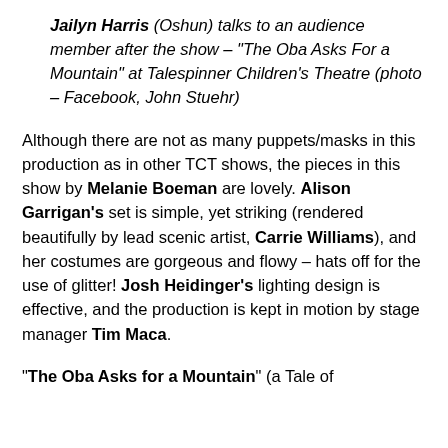Jailyn Harris (Oshun) talks to an audience member after the show – "The Oba Asks For a Mountain" at Talespinner Children's Theatre (photo – Facebook, John Stuehr)
Although there are not as many puppets/masks in this production as in other TCT shows, the pieces in this show by Melanie Boeman are lovely. Alison Garrigan's set is simple, yet striking (rendered beautifully by lead scenic artist, Carrie Williams), and her costumes are gorgeous and flowy – hats off for the use of glitter! Josh Heidinger's lighting design is effective, and the production is kept in motion by stage manager Tim Maca.
"The Oba Asks for a Mountain" (a Tale of